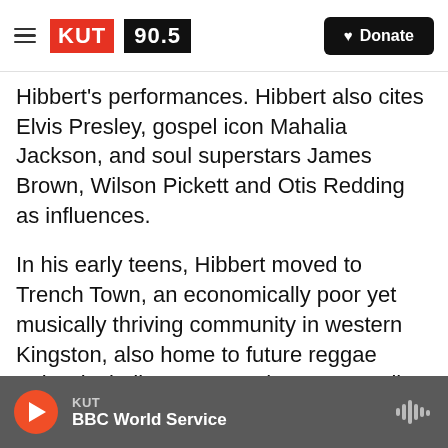[Figure (logo): KUT 90.5 radio station logo with hamburger menu and Donate button]
Hibbert's performances. Hibbert also cites Elvis Presley, gospel icon Mahalia Jackson, and soul superstars James Brown, Wilson Pickett and Otis Redding as influences.
In his early teens, Hibbert moved to Trench Town, an economically poor yet musically thriving community in western Kingston, also home to future reggae artists including Peter Tosh, Bunny Wailer and Bob Marley, who became The Wailers. While working as a barber, Hibbert met Nathaniel "Jerry" Matthias and Henry "Raleigh" Gordon and they formed The Maytals vocal trio, circa 1961, at
KUT BBC World Service